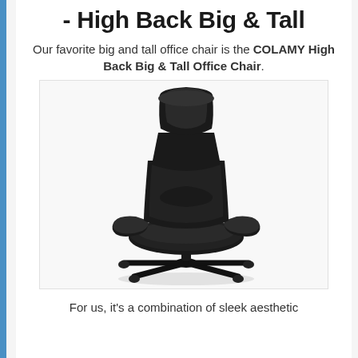- High Back Big & Tall
Our favorite big and tall office chair is the COLAMY High Back Big & Tall Office Chair.
[Figure (photo): A black leather COLAMY High Back Big & Tall Office Chair with padded armrests, high cushioned back, and a five-star wheeled base, photographed against a white background.]
For us, it's a combination of sleek aesthetic